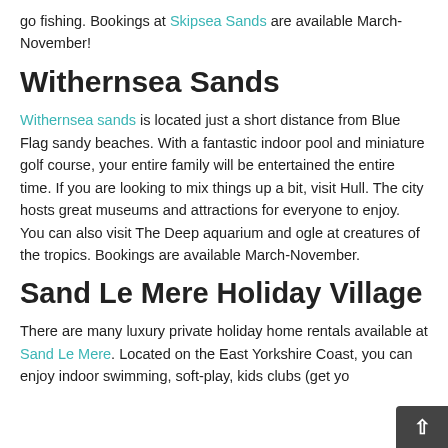go fishing. Bookings at Skipsea Sands are available March-November!
Withernsea Sands
Withernsea sands is located just a short distance from Blue Flag sandy beaches. With a fantastic indoor pool and miniature golf course, your entire family will be entertained the entire time. If you are looking to mix things up a bit, visit Hull. The city hosts great museums and attractions for everyone to enjoy. You can also visit The Deep aquarium and ogle at creatures of the tropics. Bookings are available March-November.
Sand Le Mere Holiday Village
There are many luxury private holiday home rentals available at Sand Le Mere. Located on the East Yorkshire Coast, you can enjoy indoor swimming, soft-play, kids clubs (get yo… a…